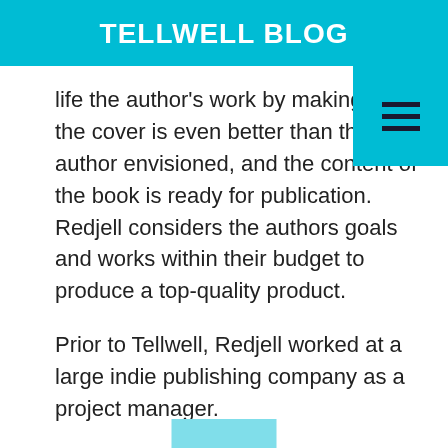TELLWELL BLOG
life the author's work by making sure the cover is even better than the author envisioned, and the content of the book is ready for publication. Redjell considers the authors goals and works within their budget to produce a top-quality product.
Prior to Tellwell, Redjell worked at a large indie publishing company as a project manager.
1. What do you enjoy most about working with authors?